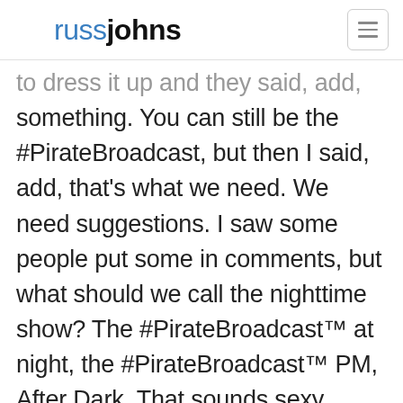russjohns
to dress it up and they said, add something. You can still be the #PirateBroadcast, but then I said, add, that's what we need. We need suggestions. I saw some people put some in comments, but what should we call the nighttime show? The #PirateBroadcast™ at night, the #PirateBroadcast™ PM, After Dark. That sounds sexy though. I don't know. I really don't know what people would think that show is about. Do not show the comment right there. You always do that. You don't read them